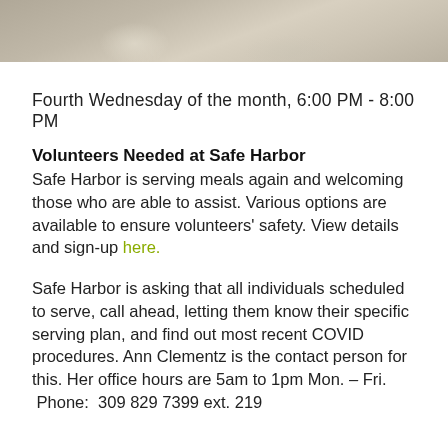[Figure (photo): Top portion of a photo showing people from above, appears to be a gathering or food service setting with a light-colored floor.]
Fourth Wednesday of the month, 6:00 PM - 8:00 PM
Volunteers Needed at Safe Harbor
Safe Harbor is serving meals again and welcoming those who are able to assist. Various options are available to ensure volunteers' safety. View details and sign-up here.
Safe Harbor is asking that all individuals scheduled to serve, call ahead, letting them know their specific serving plan, and find out most recent COVID procedures. Ann Clementz is the contact person for this. Her office hours are 5am to 1pm Mon. – Fri.
 Phone:  309 829 7399 ext. 219